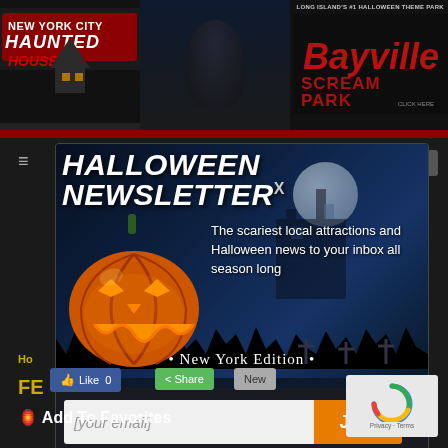[Figure (screenshot): New York City Haunted Houses website header with logo on left and Bayville Scream Park advertisement on right]
[Figure (screenshot): Halloween Newsletter popup modal with glowing pumpkin, spooky background, newsletter signup form with email input and Join button]
HALLOWEEN NEWSLETTER
The scariest local attractions and Halloween news to your inbox all season long
• New York Edition •
[your email]
Join
Like 0
Share
New
Add To Favorites